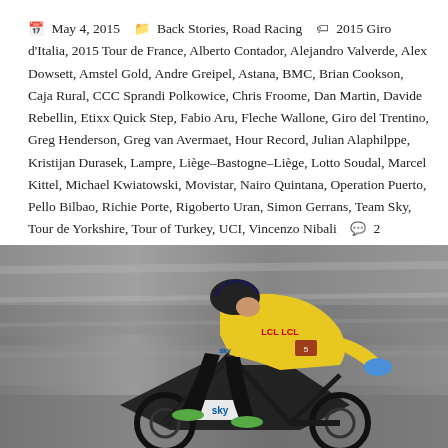May 4, 2015  Back Stories, Road Racing  2015 Giro d'Italia, 2015 Tour de France, Alberto Contador, Alejandro Valverde, Alex Dowsett, Amstel Gold, Andre Greipel, Astana, BMC, Brian Cookson, Caja Rural, CCC Sprandi Polkowice, Chris Froome, Dan Martin, Davide Rebellin, Etixx Quick Step, Fabio Aru, Fleche Wallone, Giro del Trentino, Greg Henderson, Greg van Avermaet, Hour Record, Julian Alaphilppe, Kristijan Durasek, Lampre, Liège–Bastogne–Liège, Lotto Soudal, Marcel Kittel, Michael Kwiatowski, Movistar, Nairo Quintana, Operation Puerto, Pello Bilbao, Richie Porte, Rigoberto Uran, Simon Gerrans, Team Sky, Tour de Yorkshire, Tour of Turkey, UCI, Vincenzo Nibali  2 Comments
[Figure (photo): A cyclist wearing a yellow jersey and black helmet riding a road bike at high speed, leaning forward in an aerodynamic position. The background is blurred showing motion. The jersey shows LCL branding and the bike has Sky team branding.]